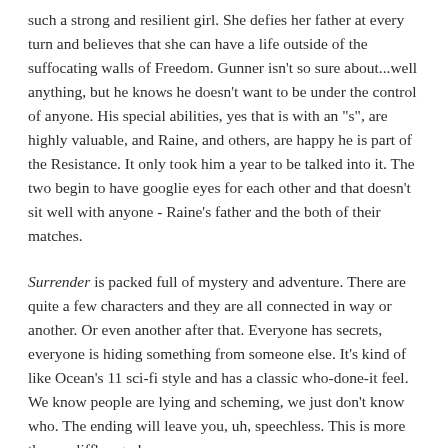such a strong and resilient girl. She defies her father at every turn and believes that she can have a life outside of the suffocating walls of Freedom. Gunner isn't so sure about...well anything, but he knows he doesn't want to be under the control of anyone. His special abilities, yes that is with an "s", are highly valuable, and Raine, and others, are happy he is part of the Resistance. It only took him a year to be talked into it. The two begin to have googlie eyes for each other and that doesn't sit well with anyone - Raine's father and the both of their matches.
Surrender is packed full of mystery and adventure. There are quite a few characters and they are all connected in way or another. Or even another after that. Everyone has secrets, everyone is hiding something from someone else. It's kind of like Ocean's 11 sci-fi style and has a classic who-done-it feel. We know people are lying and scheming, we just don't know who. The ending will leave you, uh, speechless. This is more than a cliffhanger!
Can't wait to see what happens next!
Add to Goodreads